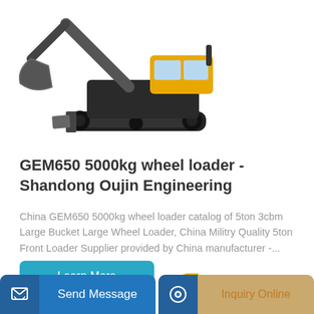[Figure (photo): A large yellow and black excavator/wheel loader machine photographed against a white background, showing the tracked undercarriage, bucket arm, and cabin.]
GEM650 5000kg wheel loader - Shandong Oujin Engineering
China GEM650 5000kg wheel loader catalog of 5ton 3cbm Large Bucket Large Wheel Loader, China Militry Quality 5ton Front Loader Supplier provided by China manufacturer -...
Learn More
[Figure (photo): Partial view of a yellow construction loader/excavator arm with SDLG branding, visible at the bottom of the page.]
Send Message
Inquiry Online